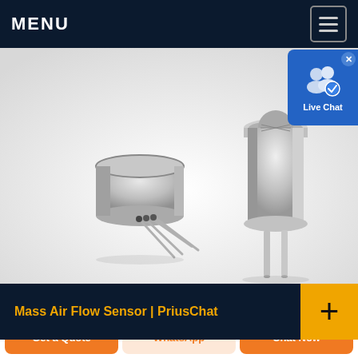MENU
[Figure (photo): Two small metallic mass air flow sensor components (TO-type packages) on a white/light grey background. One sensor is shown from the front at an angle with four pins, the other is taller and shown from the side with two pins.]
[Figure (screenshot): Live Chat widget overlay in blue with user icon and checkmark badge, with X close button in top right corner. Text reads 'Live Chat'.]
Mass Air Flow Sensor | PriusChat
· Prius > Gen 3 Prius Care, Maintenance
Get a Quote
WhatsApp
Chat Now